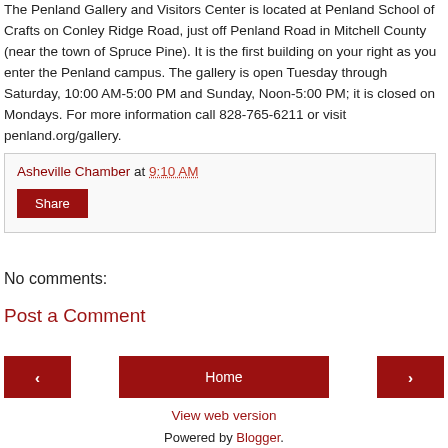The Penland Gallery and Visitors Center is located at Penland School of Crafts on Conley Ridge Road, just off Penland Road in Mitchell County (near the town of Spruce Pine). It is the first building on your right as you enter the Penland campus. The gallery is open Tuesday through Saturday, 10:00 AM-5:00 PM and Sunday, Noon-5:00 PM; it is closed on Mondays. For more information call 828-765-6211 or visit penland.org/gallery.
Asheville Chamber at 9:10 AM
Share
No comments:
Post a Comment
‹
Home
›
View web version
Powered by Blogger.